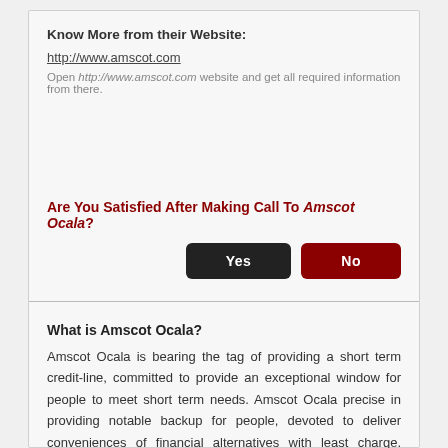Know More from their Website:
http://www.amscot.com
Open http://www.amscot.com website and get all required information from there.
Are You Satisfied After Making Call To Amscot Ocala?
Yes | No
What is Amscot Ocala?
Amscot Ocala is bearing the tag of providing a short term credit-line, committed to provide an exceptional window for people to meet short term needs. Amscot Ocala precise in providing notable backup for people, devoted to deliver conveniences of financial alternatives with least charge. However, the customers are pleased to apply online for